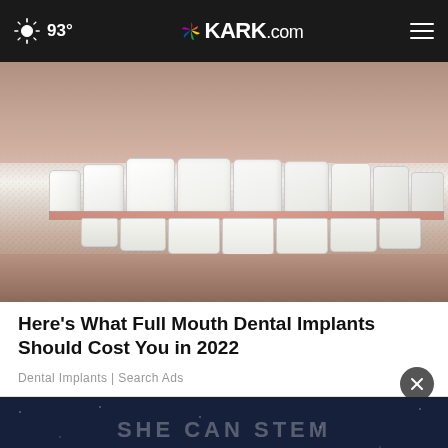93° KARK.com
[Figure (photo): Close-up photo of a man smiling showing bright white teeth with stubble beard visible]
Here's What Full Mouth Dental Implants Should Cost You in 2022
Dental Implants | Search Ads
[Figure (screenshot): Dark navy advertisement banner reading SHE CAN STEM with WHAT DO YOU THINK? text visible at bottom]